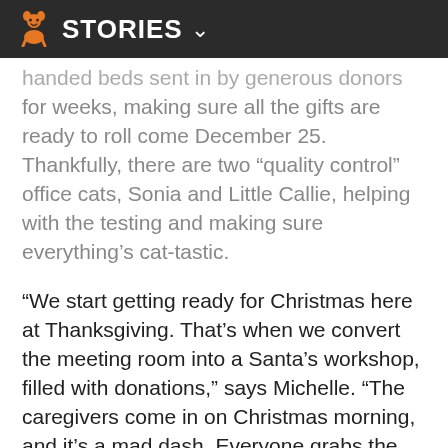STORIES
handed beds sent in by generous donors for weeks, making sure all the gifts are ready to roll come December 25. Thankfully, there are two “quality control” office cats, Sonia and Little Callie, helping with the testing and making sure everything’s cat-tastic.
“We start getting ready for Christmas here at Thanksgiving. That’s when we convert the meeting room into a Santa’s workshop, filled with donations,” says Michelle. “The caregivers come in on Christmas morning, and it’s a mad dash. Everyone grabs the special toys, treats and catnip that they want for their area. The volunteers share in this special day, helping to distribute the gifts and then playing with them. Everyone